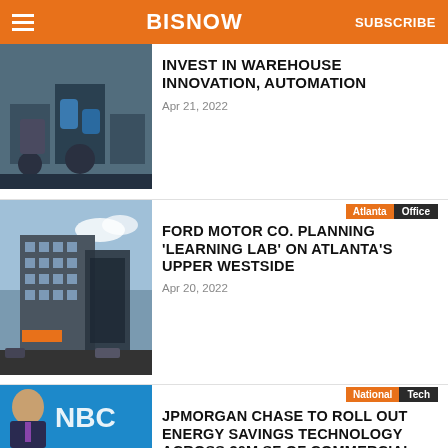BISNOW | SUBSCRIBE
INVEST IN WAREHOUSE INNOVATION, AUTOMATION
Apr 21, 2022
Atlanta | Office
FORD MOTOR CO. PLANNING 'LEARNING LAB' ON ATLANTA'S UPPER WESTSIDE
Apr 20, 2022
National | Tech
JPMORGAN CHASE TO ROLL OUT ENERGY SAVINGS TECHNOLOGY ACROSS 30M SF OF COMMERCIAL PROPERTIES